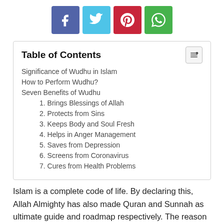[Figure (other): Four social media share buttons: Facebook (blue-purple), Twitter (cyan), Pinterest (red), WhatsApp (green)]
| Table of Contents |
| Significance of Wudhu in Islam |
| How to Perform Wudhu? |
| Seven Benefits of Wudhu |
| 1. Brings Blessings of Allah |
| 2. Protects from Sins |
| 3. Keeps Body and Soul Fresh |
| 4. Helps in Anger Management |
| 5. Saves from Depression |
| 6. Screens from Coronavirus |
| 7. Cures from Health Problems |
Islam is a complete code of life. By declaring this, Allah Almighty has also made Quran and Sunnah as ultimate guide and roadmap respectively. The reason for providing these instructions (Holy Quran) and explanation (Sunnah) manuals is